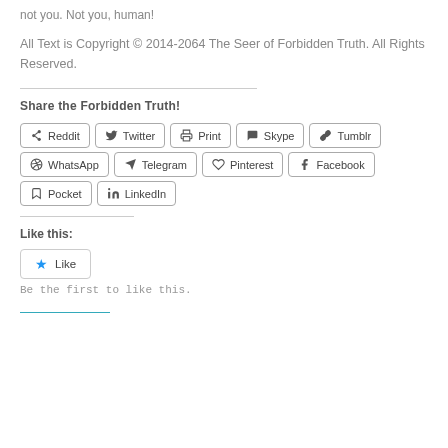not you. Not you, human!
All Text is Copyright © 2014-2064 The Seer of Forbidden Truth. All Rights Reserved.
Share the Forbidden Truth!
[Figure (screenshot): Social share buttons: Reddit, Twitter, Print, Skype, Tumblr, WhatsApp, Telegram, Pinterest, Facebook, Pocket, LinkedIn]
Like this:
[Figure (screenshot): Like button with blue star icon]
Be the first to like this.